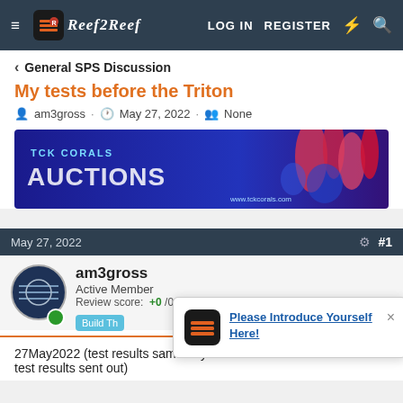Reef2Reef  LOG IN  REGISTER
< General SPS Discussion
My tests before the Triton
am3gross · May 27, 2022 · None
[Figure (photo): TCK Corals Auctions banner advertisement with coral imagery and text 'TCK CORALS AUCTIONS www.tckcorals.com']
May 27, 2022  #1
am3gross
Active Member
Review score: +0 /0 /-0
Build Th...
27May2022 (test results same day as the Triton ICP test results sent out)
[Figure (screenshot): Popup notification saying 'Please Introduce Yourself Here!' with Reef2Reef logo icon and close button]